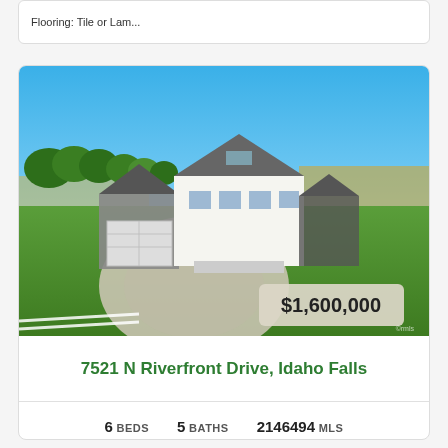Flooring: Tile or Lam...
[Figure (photo): Aerial view of a large white farmhouse-style home with dark gray roof, circular driveway, green lawn, trees in background, open fields, blue sky. Price badge showing $1,600,000 overlaid on lower right of photo.]
7521 N Riverfront Drive, Idaho Falls
6 BEDS  5 BATHS  2146494 MLS